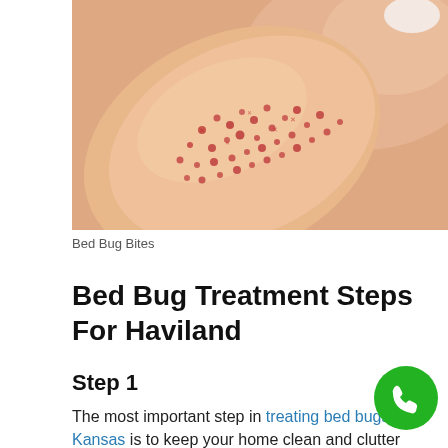[Figure (photo): Close-up photo of a person's arm showing numerous small red bed bug bite marks/rash on skin, with a blurred face in the background]
Bed Bug Bites
Bed Bug Treatment Steps For Haviland
Step 1
The most important step in treating bed bugs in Kansas is to keep your home clean and clutter free. Be sure to use the vacuum